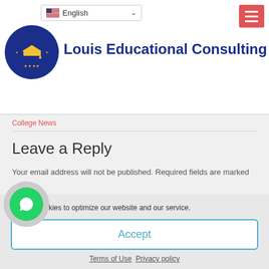[Figure (logo): Louis Educational Consulting website header with logo, language selector showing English with US flag, and hamburger menu button]
Louis Educational Consulting
College News
Leave a Reply
Your email address will not be published. Required fields are marked *
Comment *
We use cookies to optimize our website and our service.
Accept
Terms of Use   Privacy policy